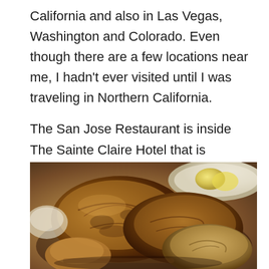California and also in Las Vegas, Washington and Colorado. Even though there are a few locations near me, I hadn't ever visited until I was traveling in Northern California.
The San Jose Restaurant is inside The Sainte Claire Hotel that is conveniently located just steps away from the Convention Center and the Plaza de Cesar Chavez.
[Figure (photo): Close-up photo of artisan bread loaves and rolls in a basket, with a plate of lemon slices visible in the upper right background.]